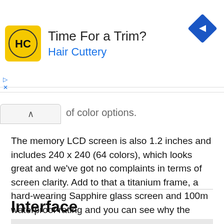[Figure (other): Advertisement banner for Hair Cuttery featuring yellow HC logo, text 'Time For a Trim?' and 'Hair Cuttery' in blue, and a blue diamond navigation icon on the right.]
of color options.
The memory LCD screen is also 1.2 inches and includes 240 x 240 (64 colors), which looks great and we've got no complaints in terms of screen clarity. Add to that a titanium frame, a hard-wearing Sapphire glass screen and 100m waterproof rating and you can see why the watch is turning heads.
Interface